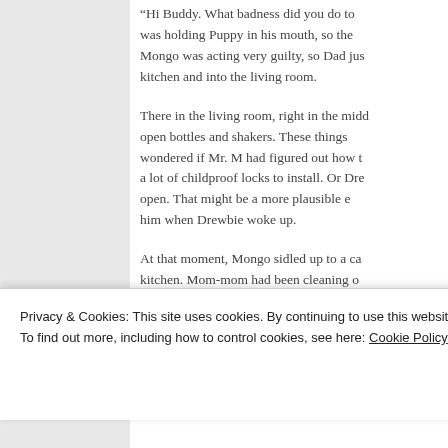“Hi Buddy. What badness did you do to… was holding Puppy in his mouth, so the… Mongo was acting very guilty, so Dad jus… kitchen and into the living room.
There in the living room, right in the midd… open bottles and shakers. These things… wondered if Mr. M had figured out how t… a lot of childproof locks to install. Or Dre… open. That might be a more plausible e… him when Drewbie woke up.
At that moment, Mongo sidled up to a ca… kitchen. Mom-mom had been cleaning o… expired items from the cabinet into a box…
Privacy & Cookies: This site uses cookies. By continuing to use this website, you agree to their use.
To find out more, including how to control cookies, see here: Cookie Policy
Close and accept